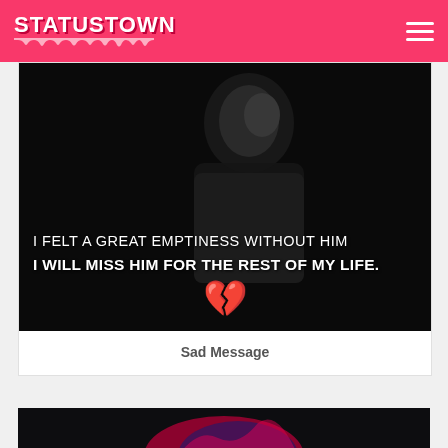STATUSTOWN
[Figure (photo): Dark moody black and white photo of a person hunched over in a dark background with text overlay reading: 'I FELT A GREAT EMPTINESS WITHOUT HIM / I WILL MISS HIM FOR THE REST OF MY LIFE.' and a broken heart emoji]
Sad Message
[Figure (photo): Partial view of a second card image at the bottom, dark background with colorful illustration]